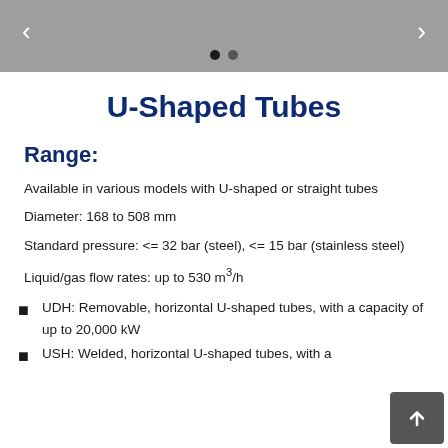< navigation dots >
U-Shaped Tubes
Range:
Available in various models with U-shaped or straight tubes
Diameter: 168 to 508 mm
Standard pressure: <= 32 bar (steel), <= 15 bar (stainless steel)
Liquid/gas flow rates: up to 530 m³/h
UDH: Removable, horizontal U-shaped tubes, with a capacity of up to 20,000 kW
USH: Welded, horizontal U-shaped tubes, with a